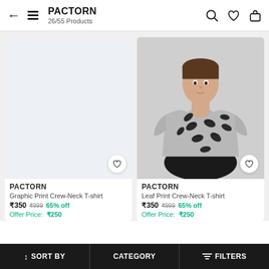PACTORN 26/55 Products
[Figure (photo): Left product card showing a placeholder/blank light blue-grey product image for a Graphic Print Crew-Neck T-shirt]
[Figure (photo): Right product card showing a male model wearing a grey feather/leaf print crew-neck t-shirt by PACTORN]
PACTORN
Graphic Print Crew-Neck T-shirt
₹350 ₹999 65% off
Offer Price: ₹250
PACTORN
Leaf Print Crew-Neck T-shirt
₹350 ₹999 65% off
Offer Price: ₹250
↑↓ SORT BY   CATEGORY   ≡ FILTERS